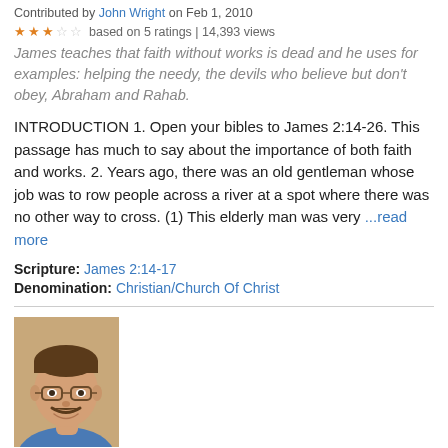Contributed by John Wright on Feb 1, 2010
★★☆☆☆ based on 5 ratings | 14,393 views
James teaches that faith without works is dead and he uses for examples: helping the needy, the devils who believe but don't obey, Abraham and Rahab.
INTRODUCTION 1. Open your bibles to James 2:14-26. This passage has much to say about the importance of both faith and works. 2. Years ago, there was an old gentleman whose job was to row people across a river at a spot where there was no other way to cross. (1) This elderly man was very ...read more
Scripture: James 2:14-17
Denomination: Christian/Church Of Christ
[Figure (photo): Portrait photo of Mark Opperman, a middle-aged man with glasses, brown hair, and a friendly smile, wearing a blue shirt.]
The Vitality Of Faith
Contributed by Mark Opperman on Mar 29, 2010